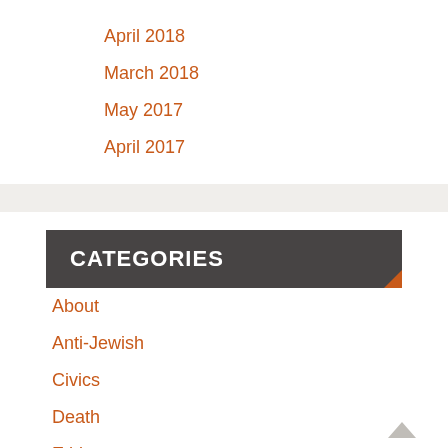April 2018
March 2018
May 2017
April 2017
CATEGORIES
About
Anti-Jewish
Civics
Death
Ethics
Family